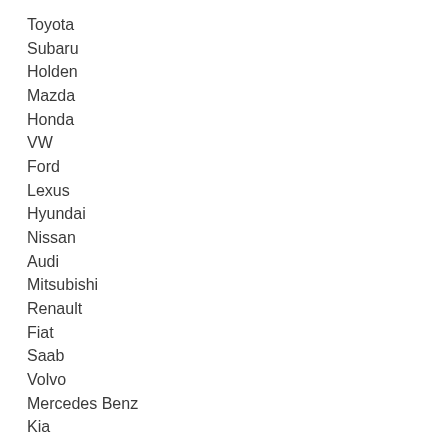Toyota
Subaru
Holden
Mazda
Honda
VW
Ford
Lexus
Hyundai
Nissan
Audi
Mitsubishi
Renault
Fiat
Saab
Volvo
Mercedes Benz
Kia